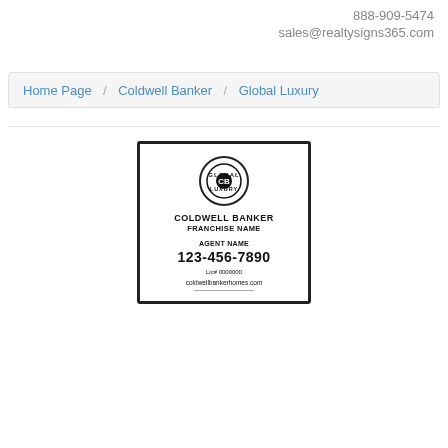888-909-5474
sales@realtysigns365.com
Home Page / Coldwell Banker / Global Luxury
[Figure (illustration): Coldwell Banker Global Luxury real estate yard sign template showing the Global Luxury logo (CB monogram in a circle with GLOBAL LUXURY text around it), COLDWELL BANKER FRANCHISE NAME, AGENT NAME, 123-456-7890, Lic# 0000000, coldwellbankerhomes.com]